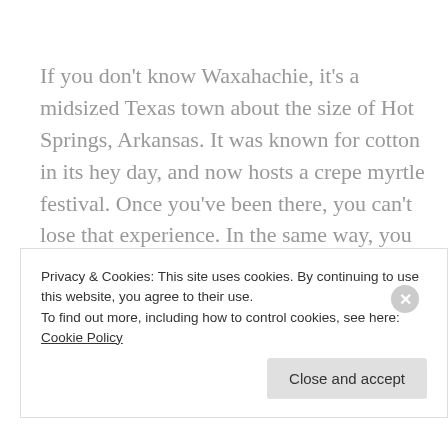If you don't know Waxahachie, it's a midsized Texas town about the size of Hot Springs, Arkansas. It was known for cotton in its hey day, and now hosts a crepe myrtle festival. Once you've been there, you can't lose that experience. In the same way, you can't lose your status of new birth. It's a gift of the Holy Spirit, given by faith through Christ.
But some of us will try to throw it away
Privacy & Cookies: This site uses cookies. By continuing to use this website, you agree to their use.
To find out more, including how to control cookies, see here: Cookie Policy